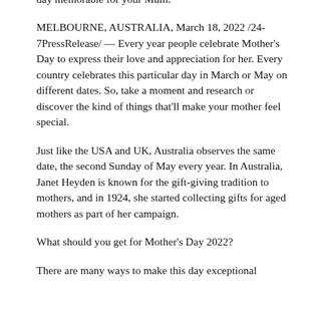day memorable for your Mum.
MELBOURNE, AUSTRALIA, March 18, 2022 /24-7PressRelease/ — Every year people celebrate Mother's Day to express their love and appreciation for her. Every country celebrates this particular day in March or May on different dates. So, take a moment and research or discover the kind of things that'll make your mother feel special.
Just like the USA and UK, Australia observes the same date, the second Sunday of May every year. In Australia, Janet Heyden is known for the gift-giving tradition to mothers, and in 1924, she started collecting gifts for aged mothers as part of her campaign.
What should you get for Mother's Day 2022?
There are many ways to make this day exceptional